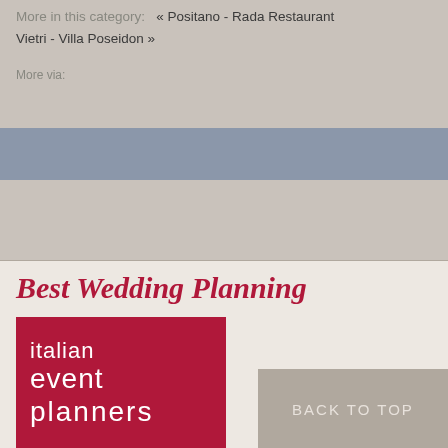More in this category:  « Positano - Rada Restaurant Vietri - Villa Poseidon »
More via:
Best Wedding Planning
[Figure (logo): Italian Event Planners logo — crimson/dark red background with white text reading 'italian event planners' in a thin modern font]
BACK TO TOP